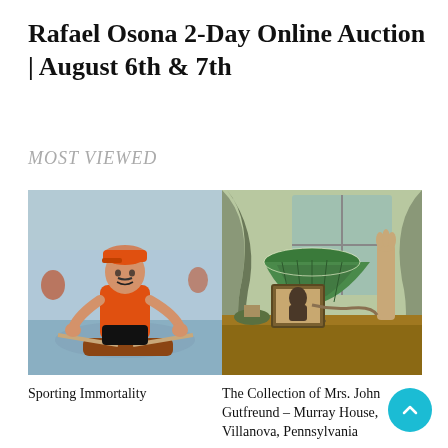Rafael Osona 2-Day Online Auction | August 6th & 7th
MOST VIEWED
[Figure (photo): Painting of a man in an orange shirt and orange cap rowing a boat on water]
Sporting Immortality
[Figure (photo): Photo of antique collection items including a Tiffany-style lamp, a framed portrait, and decorative objects on a table]
The Collection of Mrs. John Gutfreund – Murray House, Villanova, Pennsylvania